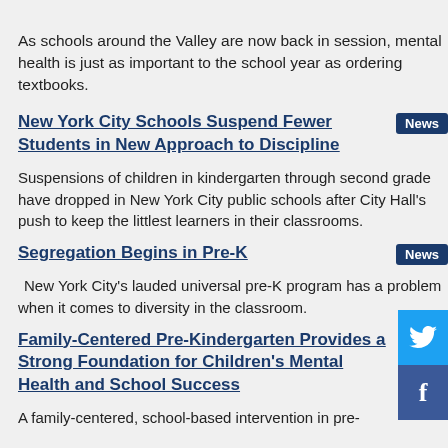As schools around the Valley are now back in session, mental health is just as important to the school year as ordering textbooks.
New York City Schools Suspend Fewer Students in New Approach to Discipline
Suspensions of children in kindergarten through second grade have dropped in New York City public schools after City Hall's push to keep the littlest learners in their classrooms.
Segregation Begins in Pre-K
New York City's lauded universal pre-K program has a problem when it comes to diversity in the classroom.
Family-Centered Pre-Kindergarten Provides a Strong Foundation for Children's Mental Health and School Success
A family-centered, school-based intervention in pre-